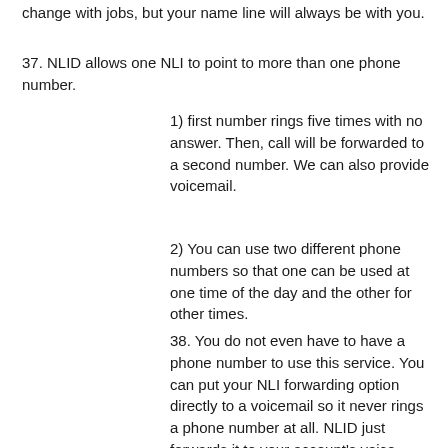change with jobs, but your name line will always be with you.
37. NLID allows one NLI to point to more than one phone number.
1) first number rings five times with no answer. Then, call will be forwarded to a second number. We can also provide voicemail.
2) You can use two different phone numbers so that one can be used at one time of the day and the other for other times.
38. You do not even have to have a phone number to use this service. You can put your NLI forwarding option directly to a voicemail so it never rings a phone number at all. NLID just forwards it to your account's voice mailbox. This would be good for product information lines. In the company's